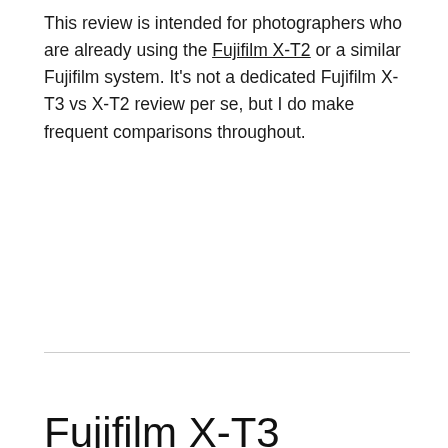This review is intended for photographers who are already using the Fujifilm X-T2 or a similar Fujifilm system. It's not a dedicated Fujifilm X-T3 vs X-T2 review per se, but I do make frequent comparisons throughout.
Fujifilm X-T3 Review | Build & Ergonomics
[Figure (photo): Black and white photo showing crowd of people, lower bodies and legs visible]
[Figure (infographic): Advertisement bar: PUMA Ultra & Future Soccer with Shop Now button]